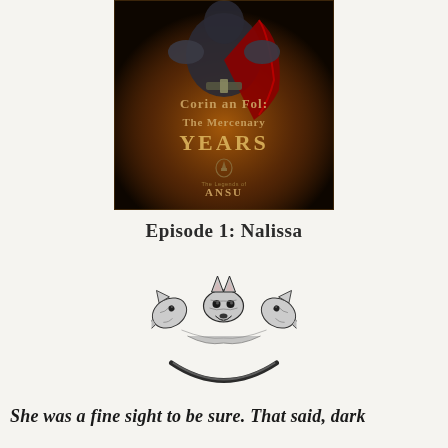[Figure (illustration): Fantasy book cover for 'Corin an Fol: The Mercenary Years' showing an armored warrior with a red cape, part of 'The Legends of Ansu' series. The title text is displayed in an ornate medieval font over a dark atmospheric background.]
Episode 1: Nalissa
[Figure (illustration): A circular emblem featuring three wolf heads facing outward, rendered in detailed black and white ink style, with a semicircular arc beneath.]
She was a fine sight to be sure. That said, dark